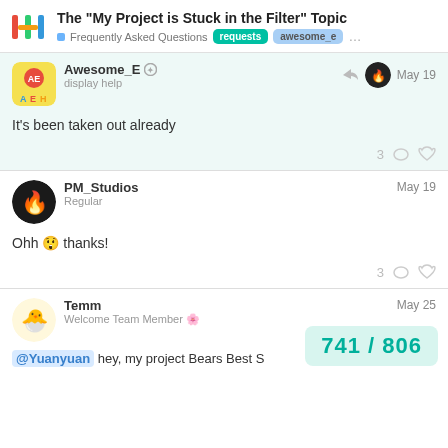The “My Project is Stuck in the Filter” Topic — Frequently Asked Questions — requests — awesome_e
Awesome_E ○ display help — May 19
It’s been taken out already
PM_Studios Regular — May 19
Ohh 😲 thanks!
Temm Welcome Team Member 🌼 — May 25
@Yuanyuan hey, my project Bears Best S
741 / 806